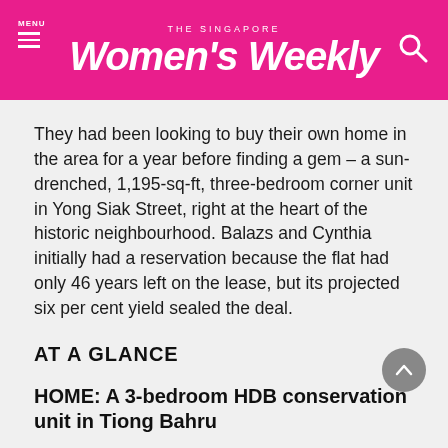THE SINGAPORE Women's Weekly
They had been looking to buy their own home in the area for a year before finding a gem – a sun-drenched, 1,195-sq-ft, three-bedroom corner unit in Yong Siak Street, right at the heart of the historic neighbourhood. Balazs and Cynthia initially had a reservation because the flat had only 46 years left on the lease, but its projected six per cent yield sealed the deal.
AT A GLANCE
HOME: A 3-bedroom HDB conservation unit in Tiong Bahru